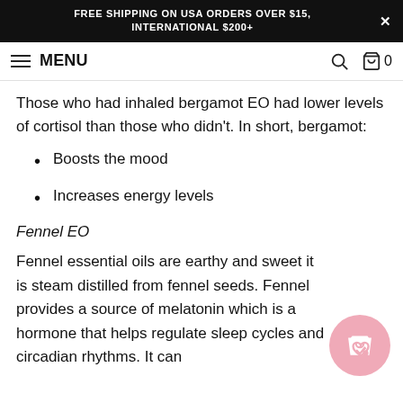FREE SHIPPING ON USA ORDERS OVER $15, INTERNATIONAL $200+
MENU
Those who had inhaled bergamot EO had lower levels of cortisol than those who didn't. In short, bergamot:
Boosts the mood
Increases energy levels
Fennel EO
Fennel essential oils are earthy and sweet it is steam distilled from fennel seeds. Fennel provides a source of melatonin which is a hormone that helps regulate sleep cycles and circadian rhythms. It can